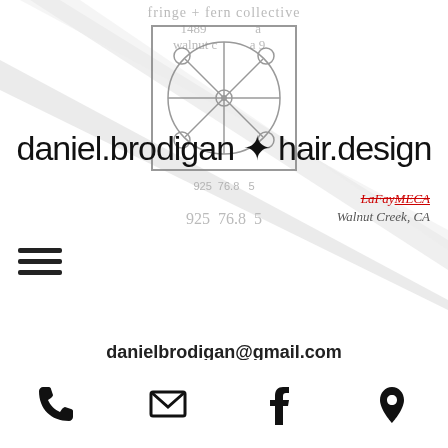[Figure (logo): Scissors wheel logo with fringe + fern collective branding banner in background, diagonal gray ribbon overlay]
daniel.brodigan hair.design
LaFayMECA (strikethrough) Walnut Creek, CA
danielbrodigan@gmail.com
www.facebook.com/danielbrodigan.hair
[Figure (infographic): Bottom icon bar with phone, email, facebook, and location pin icons]